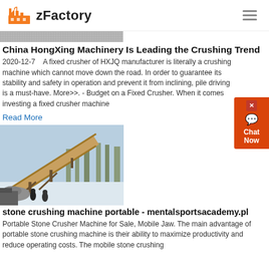zFactory
[Figure (photo): Partial view of a strip/banner image at the top of the article section]
China HongXing Machinery Is Leading the Crushing Trend
2020-12-7    A fixed crusher of HXJQ manufacturer is literally a crushing machine which cannot move down the road. In order to guarantee its stability and safety in operation and prevent it from inclining, pile driving is a must-have. More>>. - Budget on a Fixed Crusher. When it comes investing a fixed crusher machine
Read More
[Figure (photo): Photo of an industrial stone crushing conveyor belt setup at a quarry site in winter/snowy conditions, with workers visible in foreground]
stone crushing machine portable - mentalsportsacademy.pl
Portable Stone Crusher Machine for Sale, Mobile Jaw. The main advantage of portable stone crushing machine is their ability to maximize productivity and reduce operating costs. The mobile stone crushing